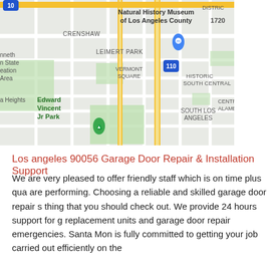[Figure (map): Google Maps view of South Los Angeles area showing Natural History Museum of Los Angeles County, Crenshaw, Leimert Park, Vermont Square, Edward Vincent Jr Park, Historic South Central, Central Alameda, and South Los Angeles neighborhoods. Highway 110 is visible. Two map pins are shown: a blue teardrop pin near the Natural History Museum and a green tree/park pin near Edward Vincent Jr Park.]
Los angeles 90056 Garage Door Repair & Installation Support
We are very pleased to offer friendly staff which is on time plus qua are performing. Choosing a reliable and skilled garage door repair s thing that you should check out. We provide 24 hours support for g replacement units and garage door repair emergencies. Santa Mon is fully committed to getting your job carried out efficiently on the